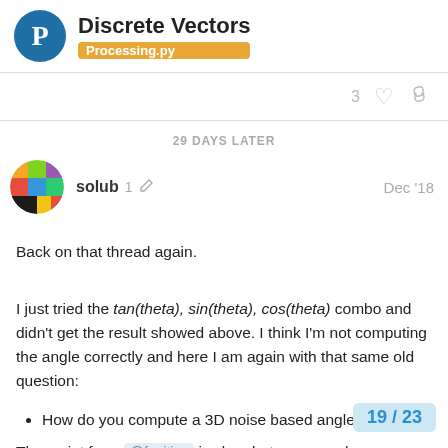Discrete Vectors — Processing.py
3 [likes] [link]
29 DAYS LATER
solub  1 [edit]  Dec '18
Back on that thread again.
I just tried the tan(theta), sin(theta), cos(theta) combo and didn't get the result showed above. I think I'm not computing the angle correctly and here I am again with that same old question:
How do you compute a 3D noise based angle ?
The script from @fugitive is clear but once you have computed the vector v and normalized it, what should I do with it ? (Let's say I want to draw a line showing the noise of the flow field, how do I compute the 3D